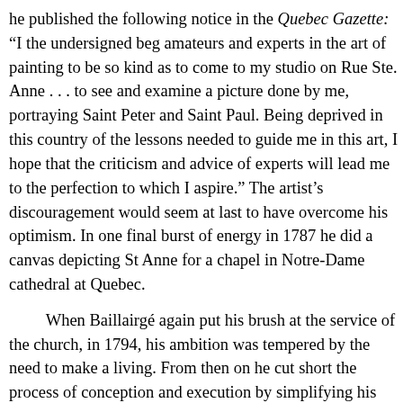he published the following notice in the Quebec Gazette: “I the undersigned beg amateurs and experts in the art of painting to be so kind as to come to my studio on Rue Ste. Anne . . . to see and examine a picture done by me, portraying Saint Peter and Saint Paul. Being deprived in this country of the lessons needed to guide me in this art, I hope that the criticism and advice of experts will lead me to the perfection to which I aspire.” The artist’s discouragement would seem at last to have overcome his optimism. In one final burst of energy in 1787 he did a canvas depicting St Anne for a chapel in Notre-Dame cathedral at Quebec.
When Baillairgé again put his brush at the service of the church, in 1794, his ambition was tempered by the need to make a living. From then on he cut short the process of conception and execution by simplifying his subjects and systematically taking inspiration from engravings or old works. A few canvasses, however, are exceptions to this rule. One is the painting of